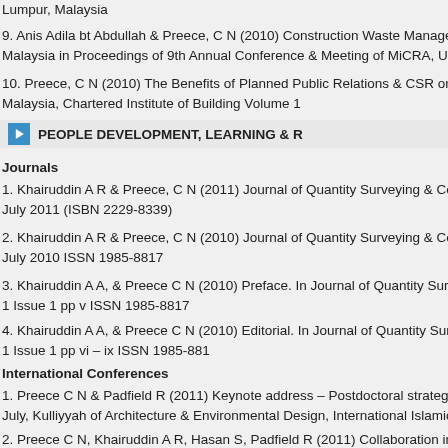Lumpur, Malaysia
9. Anis Adila bt Abdullah & Preece, C N (2010) Construction Waste Manageme Malaysia in Proceedings of 9th Annual Conference & Meeting of MiCRA, UiTM
10. Preece, C N (2010) The Benefits of Planned Public Relations & CSR on C Malaysia, Chartered Institute of Building Volume 1
PEOPLE DEVELOPMENT, LEARNING & R
Journals
1. Khairuddin A R & Preece, C N (2011) Journal of Quantity Surveying & Cons July 2011 (ISBN 2229-8339)
2. Khairuddin A R & Preece, C N (2010) Journal of Quantity Surveying & Cons July 2010 ISSN 1985-8817
3. Khairuddin A A, & Preece C N (2010) Preface. In Journal of Quantity Survey 1 Issue 1 pp v ISSN 1985-8817
4. Khairuddin A A, & Preece C N (2010) Editorial. In Journal of Quantity Survey 1 Issue 1 pp vi – ix ISSN 1985-881
International Conferences
1. Preece C N & Padfield R (2011) Keynote address – Postdoctoral strategies July, Kulliyyah of Architecture & Environmental Design, International Islamic U
2. Preece C N, Khairuddin A R, Hasan S, Padfield R (2011) Collaboration in co developing effective postdoctoral strategies and research focused university c Conference on Muliti National Joint Venture For Construction Work, Intitut Tekr 2011